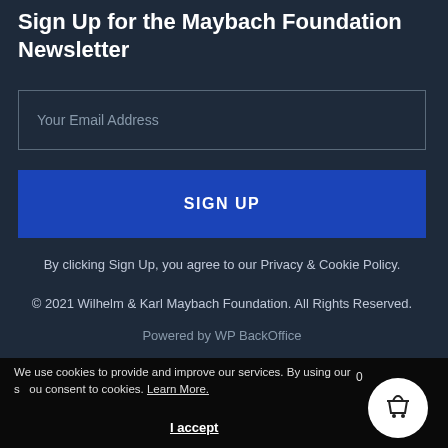Sign Up for the Maybach Foundation Newsletter
Your Email Address
SIGN UP
By clicking Sign Up, you agree to our Privacy & Cookie Policy.
© 2021 Wilhelm & Karl Maybach Foundation. All Rights Reserved.
Powered by WP BackOffice
We use cookies to provide and improve our services. By using our s ou consent to cookies. Learn More.
I accept